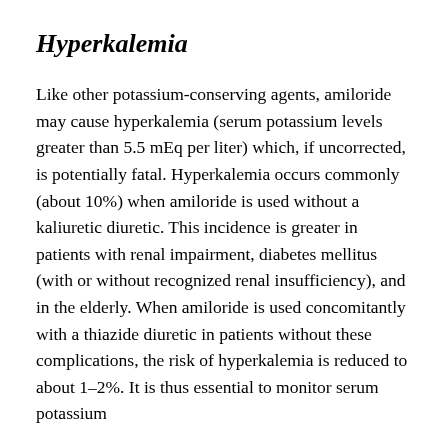Hyperkalemia
Like other potassium-conserving agents, amiloride may cause hyperkalemia (serum potassium levels greater than 5.5 mEq per liter) which, if uncorrected, is potentially fatal. Hyperkalemia occurs commonly (about 10%) when amiloride is used without a kaliuretic diuretic. This incidence is greater in patients with renal impairment, diabetes mellitus (with or without recognized renal insufficiency), and in the elderly. When amiloride is used concomitantly with a thiazide diuretic in patients without these complications, the risk of hyperkalemia is reduced to about 1–2%. It is thus essential to monitor serum potassium